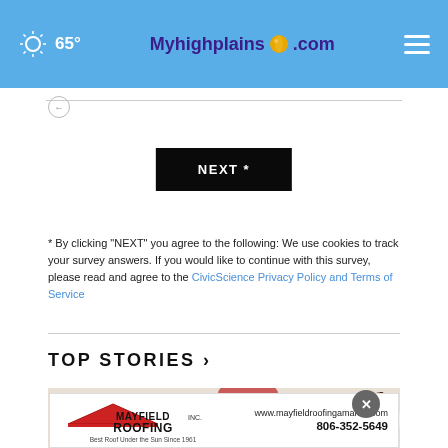65° Myhighplains.com
NEXT *
* By clicking "NEXT" you agree to the following: We use cookies to track your survey answers. If you would like to continue with this survey, please read and agree to the CivicScience Privacy Policy and Terms of Service
TOP STORIES ›
[Figure (photo): Food photo showing ice cream or dessert in a bowl with chocolate pieces]
[Figure (logo): Mayfield Roofing Inc. advertisement banner - Best Roof Under the Sun Since 1961 - www.mayfieldroofingamarillo.com - 806-352-5649]